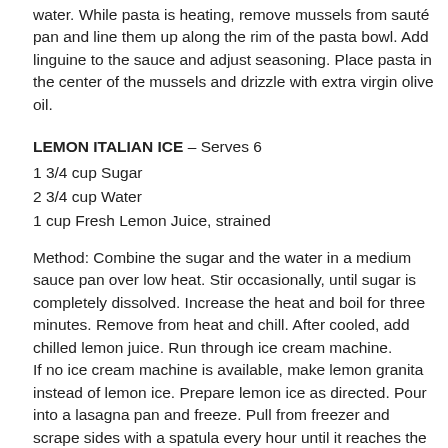water. While pasta is heating, remove mussels from sauté pan and line them up along the rim of the pasta bowl. Add linguine to the sauce and adjust seasoning. Place pasta in the center of the mussels and drizzle with extra virgin olive oil.
LEMON ITALIAN ICE – Serves 6
1 3/4 cup Sugar
2 3/4 cup Water
1 cup Fresh Lemon Juice, strained
Method: Combine the sugar and the water in a medium sauce pan over low heat. Stir occasionally, until sugar is completely dissolved. Increase the heat and boil for three minutes. Remove from heat and chill. After cooled, add chilled lemon juice. Run through ice cream machine. If no ice cream machine is available, make lemon granita instead of lemon ice. Prepare lemon ice as directed. Pour into a lasagna pan and freeze. Pull from freezer and scrape sides with a spatula every hour until it reaches the desired consistency.